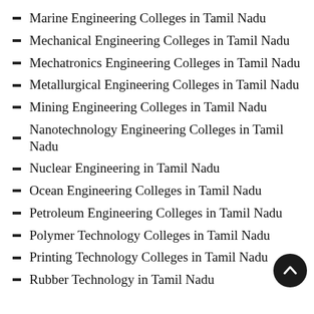Marine Engineering Colleges in Tamil Nadu
Mechanical Engineering Colleges in Tamil Nadu
Mechatronics Engineering Colleges in Tamil Nadu
Metallurgical Engineering Colleges in Tamil Nadu
Mining Engineering Colleges in Tamil Nadu
Nanotechnology Engineering Colleges in Tamil Nadu
Nuclear Engineering in Tamil Nadu
Ocean Engineering Colleges in Tamil Nadu
Petroleum Engineering Colleges in Tamil Nadu
Polymer Technology Colleges in Tamil Nadu
Printing Technology Colleges in Tamil Nadu
Rubber Technology in Tamil Nadu